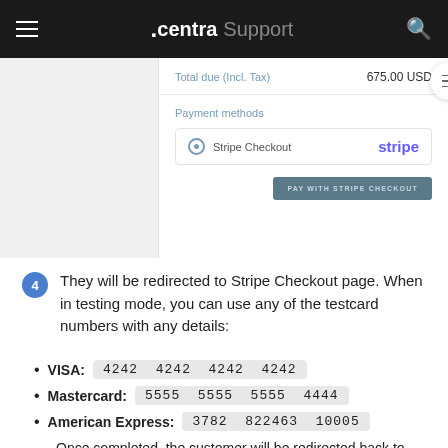.centra Support
[Figure (screenshot): Checkout UI screenshot showing Total due (Incl. Tax) 675.00 USD, Payment methods section with Stripe Checkout option selected and a PAY WITH STRIPE CHECKOUT button]
4  They will be redirected to Stripe Checkout page. When in testing mode, you can use any of the testcard numbers with any details:
VISA:  4242 4242 4242 4242
Mastercard:  5555 5555 5555 4444
American Express:  3782 822463 10005
Once completed, the customer will be redirected back to Showroom